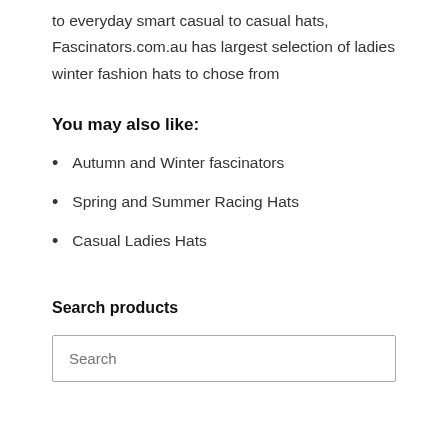to everyday smart casual to casual hats, Fascinators.com.au has largest selection of ladies winter fashion hats to chose from
You may also like:
Autumn and Winter fascinators
Spring and Summer Racing Hats
Casual Ladies Hats
Search products
Search